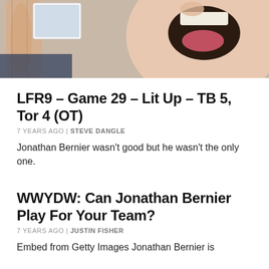[Figure (photo): Close-up photo of a person holding a small card/photo while another person has their mouth wide open, showing teeth]
LFR9 – Game 29 – Lit Up – TB 5, Tor 4 (OT)
7 YEARS AGO | STEVE DANGLE
Jonathan Bernier wasn't good but he wasn't the only one.
WWYDW: Can Jonathan Bernier Play For Your Team?
7 YEARS AGO | JUSTIN FISHER
Embed from Getty Images Jonathan Bernier is